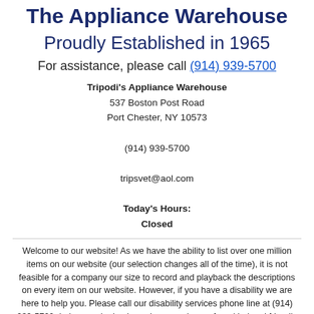The Appliance Warehouse
Proudly Established in 1965
For assistance, please call (914) 939-5700
Tripodi's Appliance Warehouse
537 Boston Post Road
Port Chester, NY 10573

(914) 939-5700

tripsvet@aol.com

Today's Hours:
Closed
Welcome to our website! As we have the ability to list over one million items on our website (our selection changes all of the time), it is not feasible for a company our size to record and playback the descriptions on every item on our website. However, if you have a disability we are here to help you. Please call our disability services phone line at (914) 939-5700 during regular business hours and one of our kind and friendly personal shoppers will help you navigate through our website, help conduct advanced